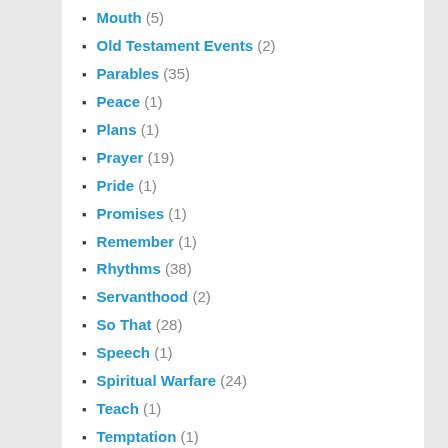Mouth (5)
Old Testament Events (2)
Parables (35)
Peace (1)
Plans (1)
Prayer (19)
Pride (1)
Promises (1)
Remember (1)
Rhythms (38)
Servanthood (2)
So That (28)
Speech (1)
Spiritual Warfare (24)
Teach (1)
Temptation (1)
Thanksgiving (1)
The Compassionate Life (17)
The Mind (38)
The Prayer Filled Life (45)
The Sacramental Life (31)
The Spirit Empowered Life (19)